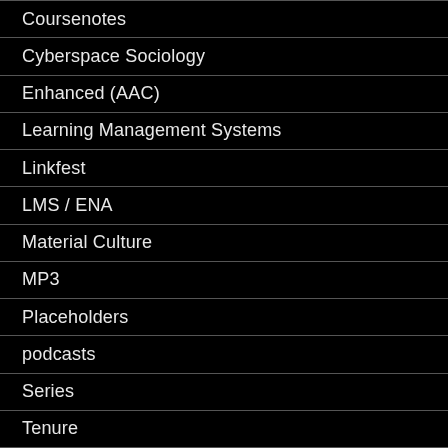Coursenotes
Cyberspace Sociology
Enhanced (AAC)
Learning Management Systems
Linkfest
LMS / ENA
Material Culture
MP3
Placeholders
podcasts
Series
Tenure
…